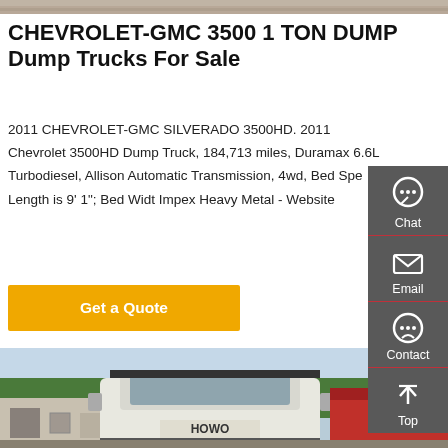[Figure (photo): Top banner image of a graveled or outdoor surface]
CHEVROLET-GMC 3500 1 TON DUMP Dump Trucks For Sale
2011 CHEVROLET-GMC SILVERADO 3500HD. 2011 Chevrolet 3500HD Dump Truck, 184,713 miles, Duramax 6.6L Turbodiesel, Allison Automatic Transmission, 4wd, Bed Spec Length is 9' 1"; Bed Widt Impex Heavy Metal - Website
[Figure (screenshot): Get a Quote button in orange/yellow]
[Figure (photo): Photo of a white HOWO semi truck cab parked outdoors near trees and a building, with a red trailer visible on the right]
[Figure (infographic): Right sidebar with Chat, Email, Contact, Top navigation icons on dark gray background]